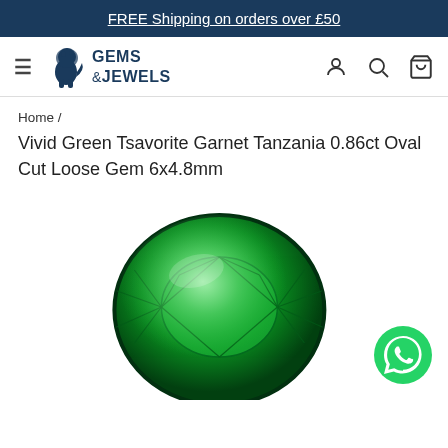FREE Shipping on orders over £50
[Figure (logo): Gems & Jewels logo with heraldic lion]
Home /
Vivid Green Tsavorite Garnet Tanzania 0.86ct Oval Cut Loose Gem 6x4.8mm
[Figure (photo): Close-up photo of a vivid green oval-cut Tsavorite Garnet gemstone showing facets and brilliance]